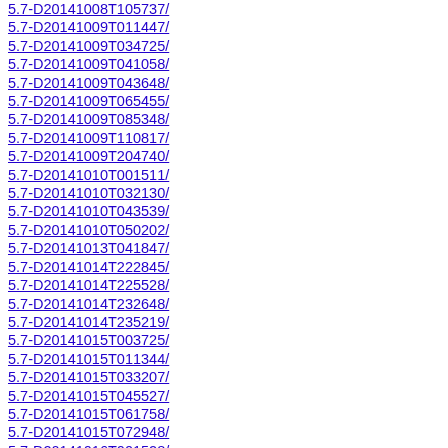5.7-D20141008T105737/
5.7-D20141009T011447/
5.7-D20141009T034725/
5.7-D20141009T041058/
5.7-D20141009T043648/
5.7-D20141009T065455/
5.7-D20141009T085348/
5.7-D20141009T110817/
5.7-D20141009T204740/
5.7-D20141010T001511/
5.7-D20141010T032130/
5.7-D20141010T043539/
5.7-D20141010T050202/
5.7-D20141013T041847/
5.7-D20141014T222845/
5.7-D20141014T225528/
5.7-D20141014T232648/
5.7-D20141014T235219/
5.7-D20141015T003725/
5.7-D20141015T011344/
5.7-D20141015T033207/
5.7-D20141015T045527/
5.7-D20141015T061758/
5.7-D20141015T072948/
5.7-D20141016T001528/
5.7-D20141016T015907/
5.7-D20141016T023118/
5.7-D20141016T030249/
5.7-D20141016T033737/
5.7-D20141016T044101/